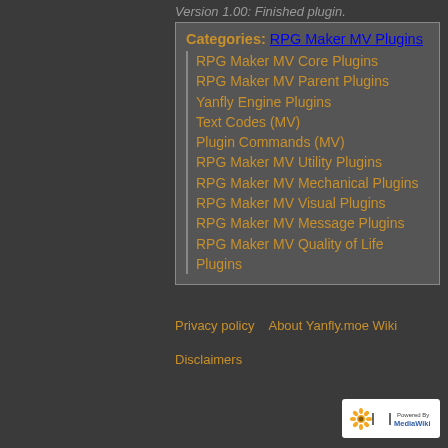Version 1.00: Finished plugin.
Categories: RPG Maker MV Plugins
RPG Maker MV Core Plugins
RPG Maker MV Parent Plugins
Yanfly Engine Plugins
Text Codes (MV)
Plugin Commands (MV)
RPG Maker MV Utility Plugins
RPG Maker MV Mechanical Plugins
RPG Maker MV Visual Plugins
RPG Maker MV Message Plugins
RPG Maker MV Quality of Life Plugins
Privacy policy   About Yanfly.moe Wiki   Disclaimers